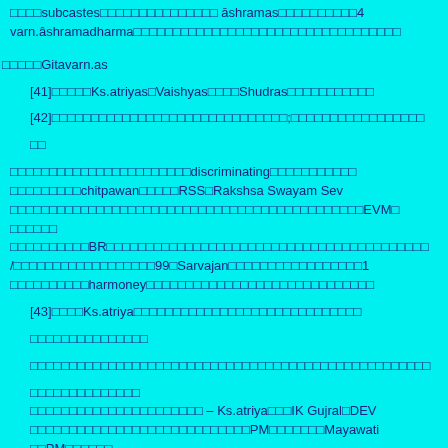□□□□subcastes□□□□□□□□□□□□□□□ āshramas□□□□□□□□□□□□□□45 varn.âshramadharma□□□□□□□□□□□□□□□□□□□□□□□□□□□□□□□□□□□
□□□□□Gitavarn.as
[41]□□□□□Ks.atriyas□Vaishyas□□□□Shudras□□□□□□□□□□□
[42]□□□□□□□□□□□□□□□□□□□□□□□□□□□□□□;□□□□□□□□□□□□□□□□□
□□
□□□□□□□□□□□□□□□□□□□□□□□discriminating□□□□□□□□□□□□□□□□□□□□□□□□chitpawan□□□□□RSS□Rakshsa Swayam Sev□□□□□□□□□□□□□□□□□□□□□□□□□□□□□□□□□□□□□□□□□□□□□EVM□□□□□□□□□□□□□□BR□□□□□□□□□□□□□□□□□□□□□□□□□□□□□□□□□□□□□□□□/□□□□□□□□□□□□□□□□□□99□Sarvajan□□□□□□□□□□□□□□□□□1□□□□□□□□□□□harmoney□□□□□□□□□□□□□□□□□□□□□□□□□□□□□
[43]□□□□Ks.atriya□□□□□□□□□□□□□□□□□□□□□□□□□□□□□
□□□□□□□□□□□□□□□
□□□□□□□□□□□□□□□□□□□□□□□□□□□□□□□□□□□□□□□□□□□□□□□□□□□
□□□□□□□□□□□□□□
□□□□□□□□□□□□□□□□□□□□□□ – Ks.atriya□□□IK Gujral□DEV□□□□□□□□□□□□□□□□□□□□□□□□□□□□PM□□□□□□□Mayawati□□PM□□□□□□
[44]□□□□□□□□□□□□□□□□□□□□□□□□□□□□□□□□□□□□□□□□□□□□□□□